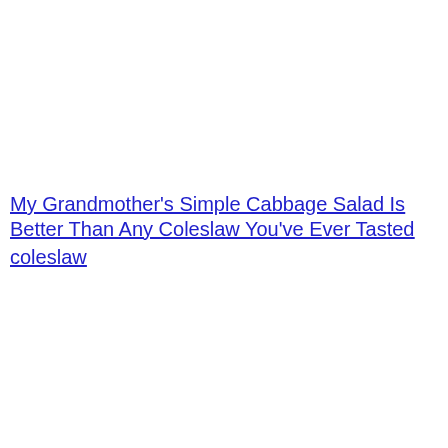My Grandmother's Simple Cabbage Salad Is Better Than Any Coleslaw You've Ever Tasted
coleslaw